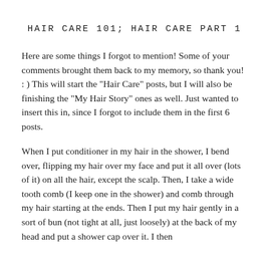HAIR CARE 101; HAIR CARE PART 1
Here are some things I forgot to mention! Some of your comments brought them back to my memory, so thank you! : ) This will start the "Hair Care" posts, but I will also be finishing the "My Hair Story" ones as well. Just wanted to insert this in, since I forgot to include them in the first 6 posts.
When I put conditioner in my hair in the shower, I bend over, flipping my hair over my face and put it all over (lots of it) on all the hair, except the scalp. Then, I take a wide tooth comb (I keep one in the shower) and comb through my hair starting at the ends. Then I put my hair gently in a sort of bun (not tight at all, just loosely) at the back of my head and put a shower cap over it. I then